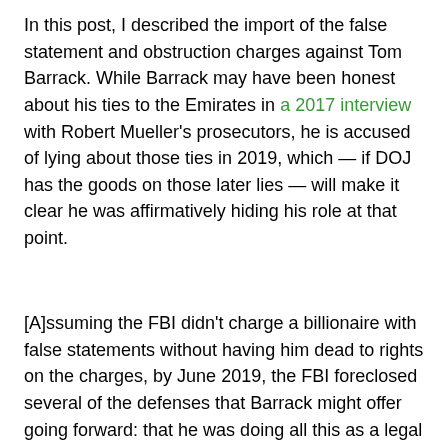In this post, I described the import of the false statement and obstruction charges against Tom Barrack. While Barrack may have been honest about his ties to the Emirates in a 2017 interview with Robert Mueller's prosecutors, he is accused of lying about those ties in 2019, which — if DOJ has the goods on those later lies — will make it clear he was affirmatively hiding his role at that point.
[A]ssuming the FBI didn't charge a billionaire with false statements without having him dead to rights on the charges, by June 2019, the FBI foreclosed several of the defenses that Barrack might offer going forward: that he was doing all this as a legal commercial transaction (which is exempt from the foreign agent charges) or that he wasn't really working for UAE, he just